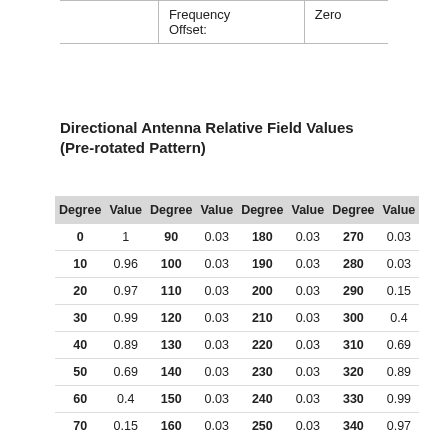|  | Frequency Offset: | Zero |
| --- | --- | --- |
|  | Frequency Offset: | Zero |
Directional Antenna Relative Field Values (Pre-rotated Pattern)
| Degree | Value | Degree | Value | Degree | Value | Degree | Value |
| --- | --- | --- | --- | --- | --- | --- | --- |
| 0 | 1 | 90 | 0.03 | 180 | 0.03 | 270 | 0.03 |
| 10 | 0.96 | 100 | 0.03 | 190 | 0.03 | 280 | 0.03 |
| 20 | 0.97 | 110 | 0.03 | 200 | 0.03 | 290 | 0.15 |
| 30 | 0.99 | 120 | 0.03 | 210 | 0.03 | 300 | 0.4 |
| 40 | 0.89 | 130 | 0.03 | 220 | 0.03 | 310 | 0.69 |
| 50 | 0.69 | 140 | 0.03 | 230 | 0.03 | 320 | 0.89 |
| 60 | 0.4 | 150 | 0.03 | 240 | 0.03 | 330 | 0.99 |
| 70 | 0.15 | 160 | 0.03 | 250 | 0.03 | 340 | 0.97 |